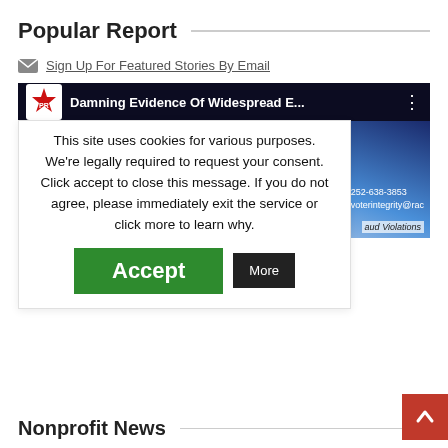Popular Report
Sign Up For Featured Stories By Email
[Figure (screenshot): Video thumbnail showing 'Damning Evidence Of Widespread E...' with a logo and contact info overlay]
This site uses cookies for various purposes. We're legally required to request your consent. Click accept to close this message. If you do not agree, please immediately exit the service or click more to learn why.
Accept
More
Nonprofit News